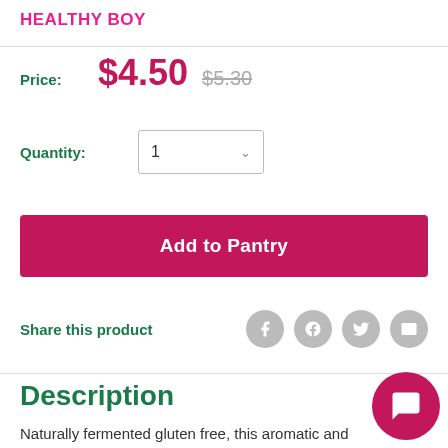HEALTHY BOY
Price: $4.50  $5.30
Quantity: 1
Add to Pantry
Share this product
Description
Naturally fermented gluten free, this aromatic and